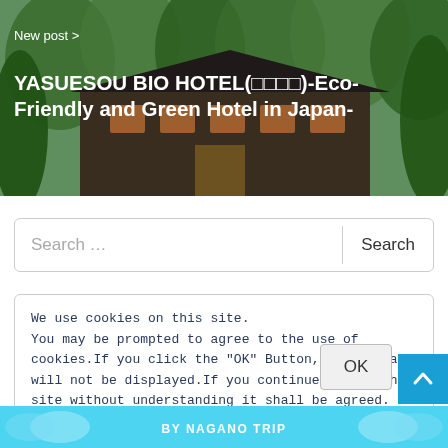[Figure (photo): Hero image of YASUESOU BIO HOTEL, a Japanese hotel surrounded by green trees with a dark-roofed building visible. Overlaid with white text showing 'New post >' and the hotel title.]
YASUESOU BIO HOTEL(□□□□)-Eco-Friendly and Green Hotel in Japan-
Search …
We use cookies on this site. You may be prompted to agree to the use of cookies.If you click the "OK" Button, the message will not be displayed.If you continue to use this site without understanding it shall be agreed. Cookie Policy
[Figure (screenshot): Bottom banner in light blue with 'BY NAGANO TRIP' text and decorative leaf/plant icons]